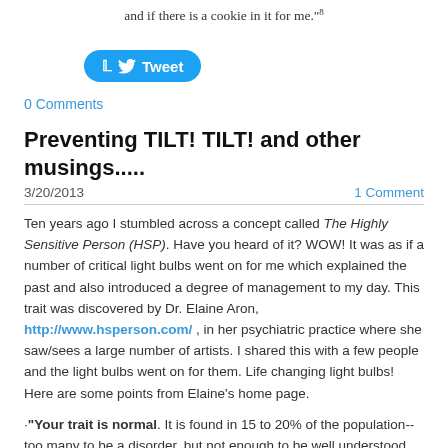and if there is a cookie in it for me."
[Figure (other): Tweet button (Twitter/X share button, blue rounded rectangle with bird icon and 'Tweet' text)]
0 Comments
Preventing TILT! TILT! and other musings.....
3/20/2013
1 Comment
Ten years ago I stumbled across a concept called The Highly Sensitive Person (HSP).  Have you heard of it?  WOW!  It was as if a number of critical light bulbs went on for me which explained the past and also introduced a degree of management to my day.  This trait was discovered by Dr. Elaine Aron, http://www.hsperson.com/ , in her psychiatric practice where she saw/sees a large number of artists.  I shared this with a few people and the light bulbs went on for them.  Life changing light bulbs!  Here are some points from Elaine's home page.
"Your trait is normal. It is found in 15 to 20% of the population--too many to be a disorder, but not enough to be well understood by the majority of those around you.